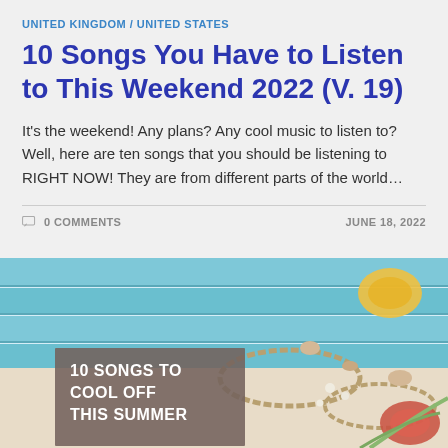UNITED KINGDOM / UNITED STATES
10 Songs You Have to Listen to This Weekend 2022 (V. 19)
It's the weekend! Any plans? Any cool music to listen to? Well, here are ten songs that you should be listening to RIGHT NOW! They are from different parts of the world…
0 COMMENTS    JUNE 18, 2022
[Figure (photo): A summer beach flat-lay photo showing seashells, rope, and wooden boards. An overlay text box reads '10 SONGS TO COOL OFF THIS SUMMER' in white bold text on a brownish-grey background.]